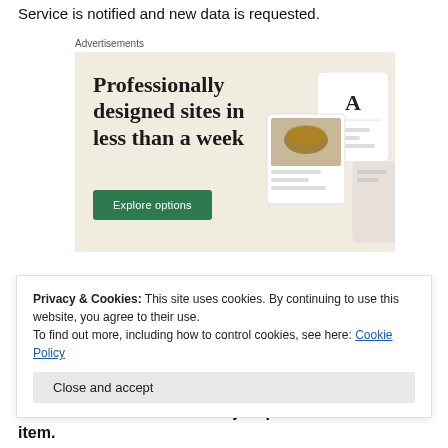Service is notified and new data is requested.
[Figure (illustration): Advertisement banner with text 'Professionally designed sites in less than a week', a green 'Explore options' button, and mockup website screenshots on a beige background. Labeled 'Advertisements' above.]
Privacy & Cookies: This site uses cookies. By continuing to use this website, you agree to their use.
To find out more, including how to control cookies, see here: Cookie Policy
2. When Active Channel Subject publishes a new item.